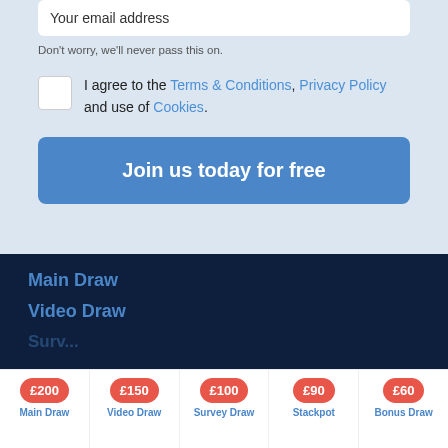Your email address
Don't worry, we'll never pass this on.
I agree to the Terms & Conditions, Privacy Policy and use of Cookies.
Join us today for free
Main Draw
Video Draw
£200 Main Draw
£150 Video Draw
£100 Survey Draw
£90 Stackpot
£60 Bonus Draw